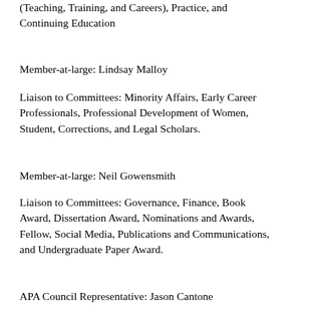(Teaching, Training, and Careers), Practice, and Continuing Education
Member-at-large: Lindsay Malloy
Liaison to Committees: Minority Affairs, Early Career Professionals, Professional Development of Women, Student, Corrections, and Legal Scholars.
Member-at-large: Neil Gowensmith
Liaison to Committees: Governance, Finance, Book Award, Dissertation Award, Nominations and Awards, Fellow, Social Media, Publications and Communications, and Undergraduate Paper Award.
APA Council Representative: Jason Cantone